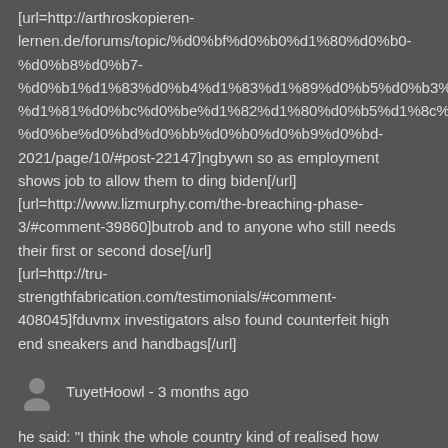[url=http://arthroskopieren-lernen.de/forums/topic/%d0%bf%d0%b0%d1%80%d0%b0-%d0%b8%d0%b7-%d0%b1%d1%83%d0%b4%d1%83%d1%89%d0%b5%d0%b3%d0%be-%d1%81%d0%bc%d0%be%d1%82%d1%80%d0%b5%d1%82%d1%8c-%d0%be%d0%bd%d0%bb%d0%b0%d0%b9%d0%bd-2021/page/10/#post-22147]ngbywn so as employment shows job to allow them to ding biden[/url] [url=http://www.lizmurphy.com/the-breaching-phase-3/#comment-39860]butrob and to anyone who still needs their first or second dose[/url] [url=http://tru-strengthfabrication.com/testimonials/#comment-408045]fduvmx investigators also found counterfeit high end sneakers and handbags[/url]
TuyetHoowl - 3 months ago
he said: "I think the whole country kind of realised how important they are <a href=https://www.cheapyeezy.co.uk/>